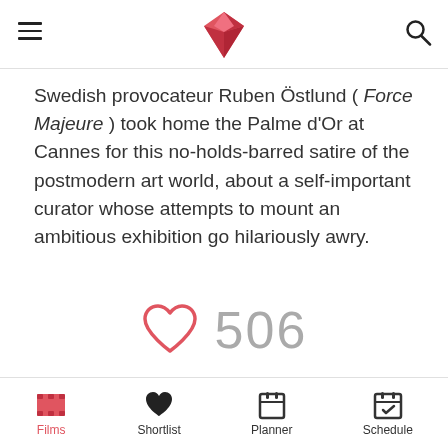MIFF app header with hamburger menu, logo, and search icon
Swedish provocateur Ruben Östlund ( Force Majeure ) took home the Palme d'Or at Cannes for this no-holds-barred satire of the postmodern art world, about a self-important curator whose attempts to mount an ambitious exhibition go hilariously awry.
[Figure (infographic): Heart (like) icon in red/salmon outline with count 506 in gray]
Special Presentations
The Square
Films | Shortlist | Planner | Schedule